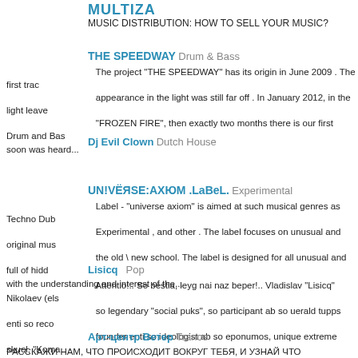MULTIZA
MUSIC DISTRIBUTION: HOW TO SELL YOUR MUSIC?
THE SPEEDWAY  Drum & Bass
The project "THE SPEEDWAY" has its origin in June 2009 . The first track appearance in the light was still far off . In January 2012, in the light leaves "FROZEN FIRE", then exactly two months there is our first Drum and Bass soon was heard...
Dj Evil Clown  Dutch House
UN!VЁЯSE:AXЮM .LaBeL.  Experimental
Label - "universe axiom" is aimed at such musical genres as Techno Dub Experimental , and other . The label focuses on unusual and original mus the old \ new school. The label is designed for all unusual and full of hidd with the understanding and interest of the...
Lisicq  Pop
Attentio!.. So bestia, leyg nai naz beper!.. Vladislav "Lisicq" Nikolaev (els so legendary "social puks", so participant ab so uerald tupps enti so reco founder enti so ideologist ab so eponumos, unique extreme skuel, "Koma "Niko." enti manag enters, sensational, proiects; master universe!.. "Lisicq" has car
Арт-центр Ветер  Trance
РАССКАЖИ НАМ, ЧТО ПРОИСХОДИТ ВОКРУГ ТЕБЯ, И УЗНАЙ ЧТО